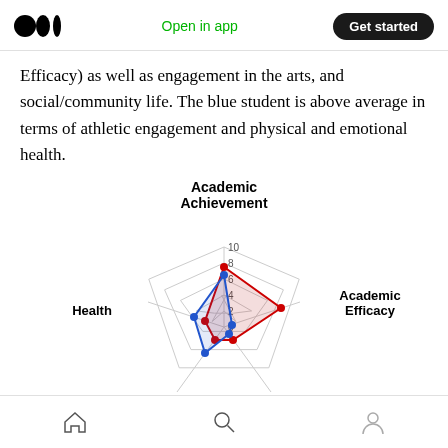Medium logo | Open in app | Get started
Efficacy) as well as engagement in the arts, and social/community life. The blue student is above average in terms of athletic engagement and physical and emotional health.
[Figure (radar-chart): Radar chart showing two students (blue and red) plotted across dimensions: Academic Achievement, Academic Efficacy, Health, and others. Scale 0-10. Blue student scores higher in Health (~4) and lower in Academic Efficacy (~1). Red student scores higher in Academic Achievement (~7.5) and Academic Efficacy (~4).]
Home | Search | Profile navigation icons